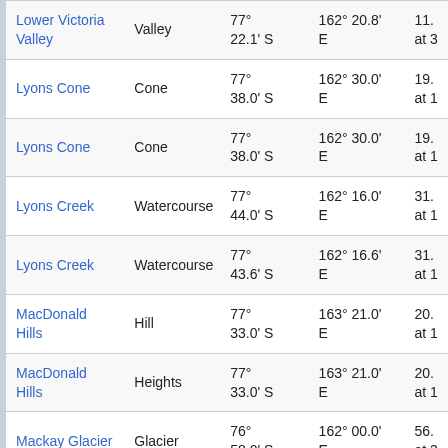| Name | Type | Latitude | Longitude | Extra |
| --- | --- | --- | --- | --- |
| Lower Victoria Valley | Valley | 77° 22.1' S | 162° 20.8' E | 11. at 3 |
| Lyons Cone | Cone | 77° 38.0' S | 162° 30.0' E | 19. at 1 |
| Lyons Cone | Cone | 77° 38.0' S | 162° 30.0' E | 19. at 1 |
| Lyons Creek | Watercourse | 77° 44.0' S | 162° 16.0' E | 31. at 1 |
| Lyons Creek | Watercourse | 77° 43.6' S | 162° 16.6' E | 31. at 1 |
| MacDonald Hills | Hill | 77° 33.0' S | 163° 21.0' E | 20. at 1 |
| MacDonald Hills | Heights | 77° 33.0' S | 163° 21.0' E | 20. at 1 |
| Mackay Glacier | Glacier | 76° 58.0' S | 162° 00.0' E | 56. at 3 |